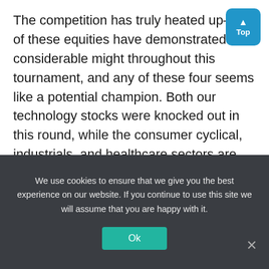The competition has truly heated up—all of these equities have demonstrated considerable might throughout this tournament, and any of these four seems like a potential champion. Both our technology stocks were knocked out in this round, while the consumer cyclical, industrials, and healthcare sectors are still represented. In the next round, we'll be using a mix of quantitative and qualitative data to assess competitive advantage and peer context.

Until then! Thanks for tuning in.
We use cookies to ensure that we give you the best experience on our website. If you continue to use this site we will assume that you are happy with it.